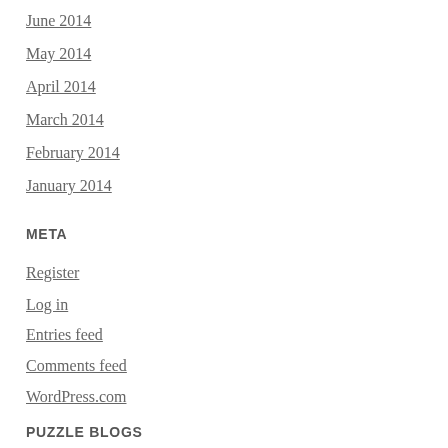June 2014
May 2014
April 2014
March 2014
February 2014
January 2014
META
Register
Log in
Entries feed
Comments feed
WordPress.com
PUZZLE BLOGS